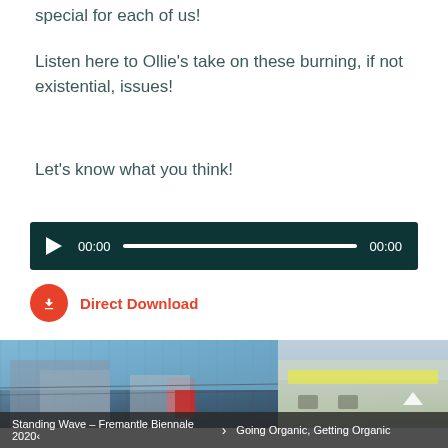special for each of us!
Listen here to Ollie's take on these burning, if not existential, issues!
Let's know what you think!
[Figure (other): Audio player widget with dark teal background, play button, time display 00:00, progress bar, and end time 00:00]
Direct Download
[Figure (photo): Two side-by-side photos: left shows a multi-storey building facade against blue sky; right shows an outdoor cafe or shop with green awning and seating]
Standing Wave – Fremantle Biennale 2020  ›  Going Organic, Getting Organic